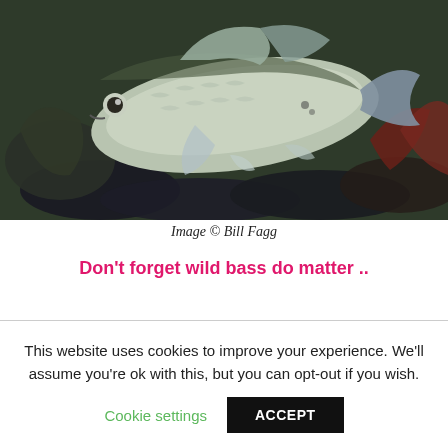[Figure (photo): A large silver sea bass fish lying on dark rocky ground with shells and seaweed, photographed from above.]
Image © Bill Fagg
Don't forget wild bass do matter ..
This website uses cookies to improve your experience. We'll assume you're ok with this, but you can opt-out if you wish.
Cookie settings  ACCEPT